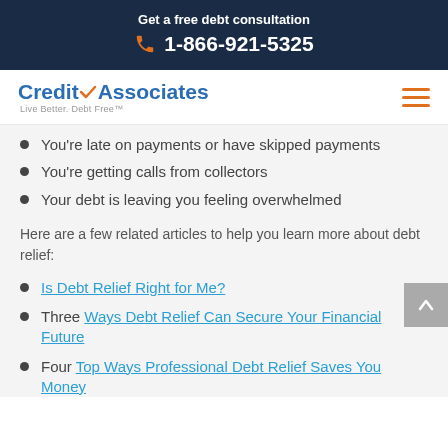Get a free debt consultation
1-866-921-5325
[Figure (logo): CreditAssociates logo with orange checkmark and tagline 'Live Better. Debt Free']
You're late on payments or have skipped payments
You're getting calls from collectors
Your debt is leaving you feeling overwhelmed
Here are a few related articles to help you learn more about debt relief:
Is Debt Relief Right for Me?
Three Ways Debt Relief Can Secure Your Financial Future
Four Top Ways Professional Debt Relief Saves You Money